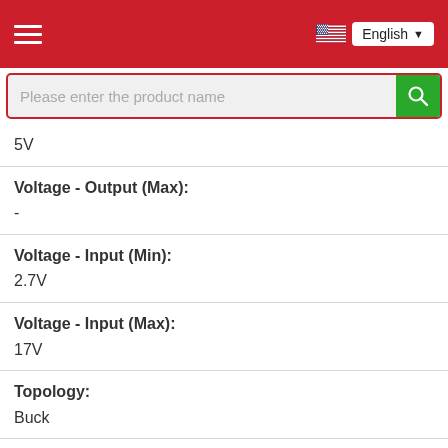English
| 5V |
| Voltage - Output (Max): | - |
| Voltage - Input (Min): | 2.7V |
| Voltage - Input (Max): | 17V |
| Topology: | Buck |
| Synchronous Rectifier: | Yes |
| Supplier Device Package: |  |